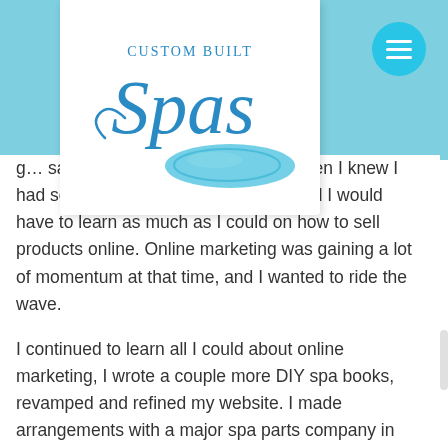[Figure (logo): Custom Built Spas logo — cursive 'Spas' text with blue oval/pool graphic and 'Custom Built' text above]
g... sales shortly after it was... es when I knew I had something that people wanted, and I would have to learn as much as I could on how to sell products online. Online marketing was gaining a lot of momentum at that time, and I wanted to ride the wave.
I continued to learn all I could about online marketing, I wrote a couple more DIY spa books, revamped and refined my website. I made arrangements with a major spa parts company in Tempe AZ to drop ship parts to my customers who were going to build a spa or hot tub. I learned how to set up a “shopping cart” where people could buy my books with credit cards instead of sending me money orders or checks and sales began to take off...